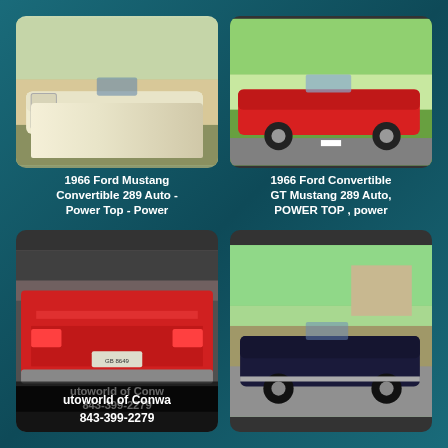[Figure (photo): 1966 Ford Mustang Convertible, cream/white color, side view, open top, in a parking lot with trees in background]
1966 Ford Mustang Convertible 289 Auto - Power Top - Power
[Figure (photo): 1966 Ford Convertible GT Mustang, red color, side view, open top, on a road with green field and houses in background]
1966 Ford Convertible GT Mustang 289 Auto, POWER TOP , power
[Figure (photo): Red Ford Mustang rear view in a garage, license plate visible, with overlay text showing autoworld of Conway 843-399-2279]
[Figure (photo): Dark navy blue Ford Mustang convertible, side view, open top, parked on street with trees and house in background]